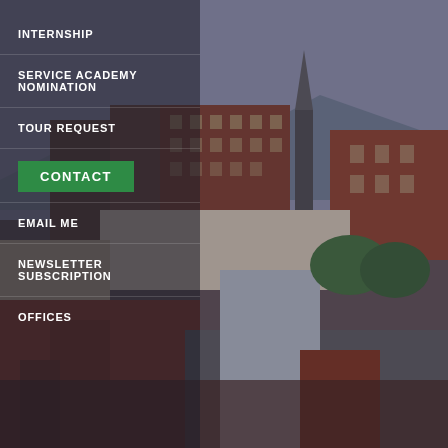[Figure (photo): Aerial/elevated view of a small city downtown with brick buildings, church steeple, red-brick multi-story buildings, rooftops, and mountains in the background under an overcast sky.]
INTERNSHIP
SERVICE ACADEMY NOMINATION
TOUR REQUEST
CONTACT
EMAIL ME
NEWSLETTER SUBSCRIPTION
OFFICES